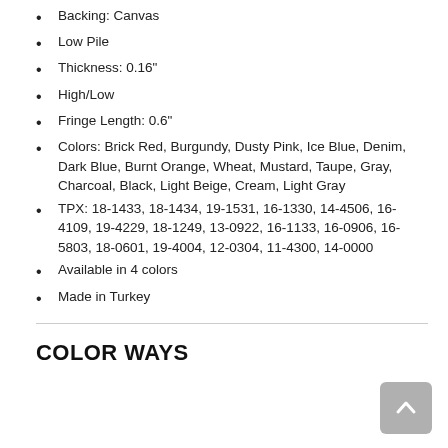Backing: Canvas
Low Pile
Thickness: 0.16"
High/Low
Fringe Length: 0.6"
Colors: Brick Red, Burgundy, Dusty Pink, Ice Blue, Denim, Dark Blue, Burnt Orange, Wheat, Mustard, Taupe, Gray, Charcoal, Black, Light Beige, Cream, Light Gray
TPX: 18-1433, 18-1434, 19-1531, 16-1330, 14-4506, 16-4109, 19-4229, 18-1249, 13-0922, 16-1133, 16-0906, 16-5803, 18-0601, 19-4004, 12-0304, 11-4300, 14-0000
Available in 4 colors
Made in Turkey
COLOR WAYS